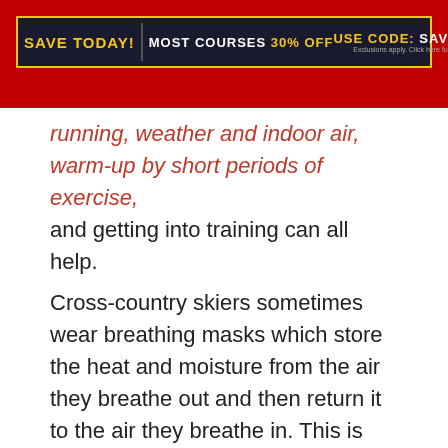[Figure (other): Red promotional banner with advertisement: SAVE TODAY! MOST COURSES 30% OFF USE CODE: SAVE30]
running, weather and indoor air, warm-up by short periods of exercise, and getting into training can all help.
Cross-country skiers sometimes wear breathing masks which store the heat and moisture from the air they breathe out and then return it to the air they breathe in. This is helpful in avoiding exercise-induced asthma.
Good control of your asthma, whether by breathing in a 'preventer' treatment...